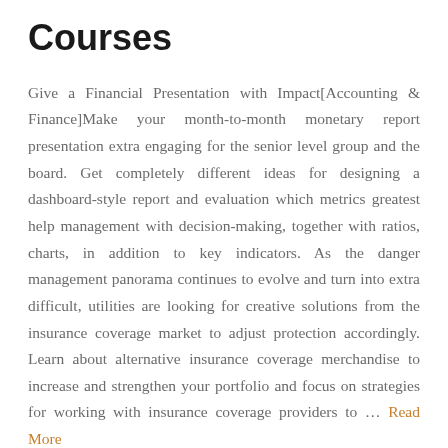Courses
Give a Financial Presentation with Impact[Accounting & Finance]Make your month-to-month monetary report presentation extra engaging for the senior level group and the board. Get completely different ideas for designing a dashboard-style report and evaluation which metrics greatest help management with decision-making, together with ratios, charts, in addition to key indicators. As the danger management panorama continues to evolve and turn into extra difficult, utilities are looking for creative solutions from the insurance coverage market to adjust protection accordingly. Learn about alternative insurance coverage merchandise to increase and strengthen your portfolio and focus on strategies for working with insurance coverage providers to … Read More